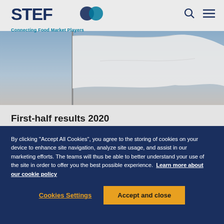STEF - Connecting Food Market Players
[Figure (photo): Photo of a flag waving against a sky background]
First-half results 2020
published on 09/03/20
By clicking "Accept All Cookies", you agree to the storing of cookies on your device to enhance site navigation, analyze site usage, and assist in our marketing efforts. The teams will thus be able to better understand your use of the site in order to offer you the best possible experience. Learn more about our cookie policy
Cookies Settings
Accept and close